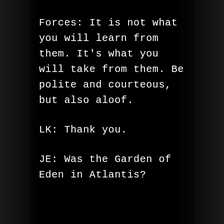Forces: It is not what you will learn from them. It’s what you will take from them. Be polite and courteous, but also aloof.
LK: Thank you.
JE: Was the Garden of Eden in Atlantis?